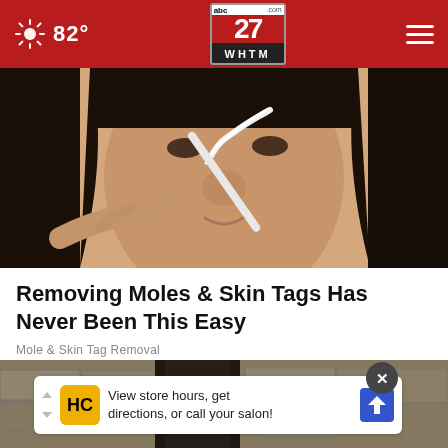abc27.com WHTM — 82°
[Figure (photo): Close-up photo of a woman applying something white (cream/product) to her nose with a brush or applicator.]
Removing Moles & Skin Tags Has Never Been This Easy
Mole & Skin Tag Removal
[Figure (photo): Second article thumbnail image, partially visible, showing a stone or brick wall background. Overlaid with an advertisement banner: 'View store hours, get directions, or call your salon!' from HC (Hair Club), with close button.]